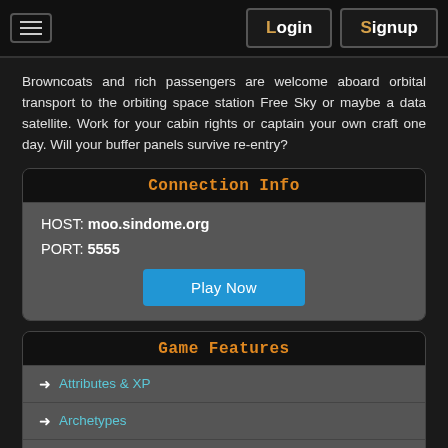Login | Signup
Browncoats and rich passengers are welcome aboard orbital transport to the orbiting space station Free Sky or maybe a data satellite. Work for your cabin rights or captain your own craft one day. Will your buffer panels survive re-entry?
Connection Info
HOST: moo.sindome.org
PORT: 5555
Play Now
Game Features
→ Attributes & XP
→ Archetypes
→ Your Appearance